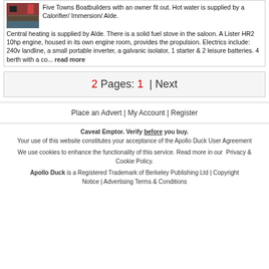Five Towns Boatbuilders with an owner fit out. Hot water is supplied by a Calorifier/ Immersion/ Alde. Central heating is supplied by Alde. There is a solid fuel stove in the saloon. A Lister HR2 10hp engine, housed in its own engine room, provides the propulsion. Electrics include: 240v landline, a small portable inverter, a galvanic isolator, 1 starter & 2 leisure batteries. 4 berth with a co... read more
2 Pages: 1 | Next
Place an Advert | My Account | Register
Caveat Emptor. Verify before you buy.
Your use of this website constitutes your acceptance of the Apollo Duck User Agreement
We use cookies to enhance the functionality of this service. Read more in our Privacy & Cookie Policy.
Apollo Duck is a Registered Trademark of Berkeley Publishing Ltd | Copyright Notice | Advertising Terms & Conditions